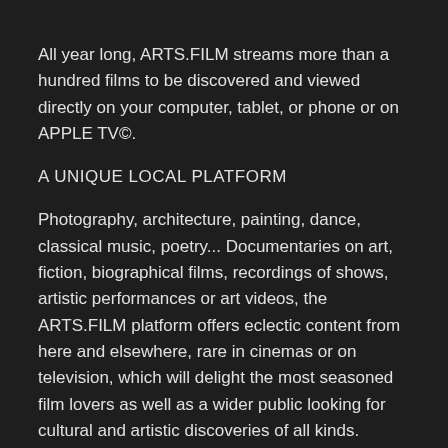All year long, ARTS.FILM streams more than a hundred films to be discovered and viewed directly on your computer, tablet, or phone or on APPLE TV©.
A UNIQUE LOCAL PLATFORM
Photography, architecture, painting, dance, classical music, poetry... Documentaries on art, fiction, biographical films, recordings of shows, artistic performances or art videos, the ARTS.FILM platform offers eclectic content from here and elsewhere, rare in cinemas or on television, which will delight the most seasoned film lovers as well as a wider public looking for cultural and artistic discoveries of all kinds.
DISCOVER ORIGINALS
In addition to a constantly growing catalog and more than thirty editorial collections that make content more